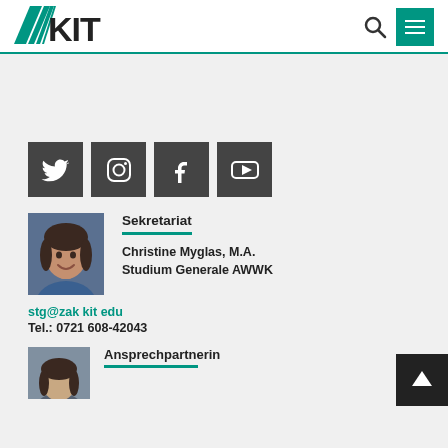[Figure (logo): KIT logo with green fan/rays and bold KIT text]
[Figure (infographic): Search icon (magnifying glass) and green hamburger menu button in header]
[Figure (infographic): Social media icons: Twitter, Instagram, Facebook, YouTube — dark gray square buttons]
[Figure (photo): Photo of Christine Myglas, a woman with dark hair smiling]
Sekretariat
Christine Myglas, M.A.
Studium Generale AWWK
stg@zak kit edu
Tel.: 0721 608-42043
[Figure (photo): Photo of another woman, partially visible at bottom]
Ansprechpartnerin